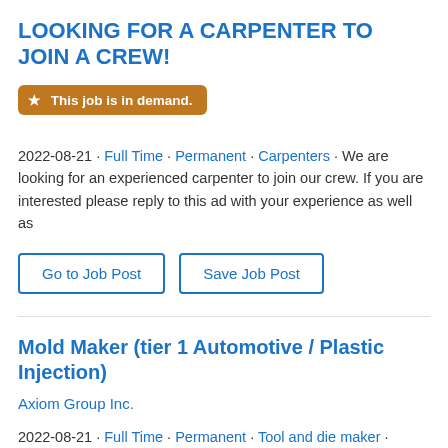LOOKING FOR A CARPENTER TO JOIN A CREW!
★ This job is in demand.
2022-08-21 · Full Time · Permanent · Carpenters · We are looking for an experienced carpenter to join our crew. If you are interested please reply to this ad with your experience as well as
Go to Job Post    Save Job Post
Mold Maker (tier 1 Automotive / Plastic Injection)
Axiom Group Inc.
2022-08-21 · Full Time · Permanent · Tool and die maker · OPPORTUNITY OPEN TO INTERNATIONAL CANDIDATES ***LMIA*** Support Provided!! Do you have magical